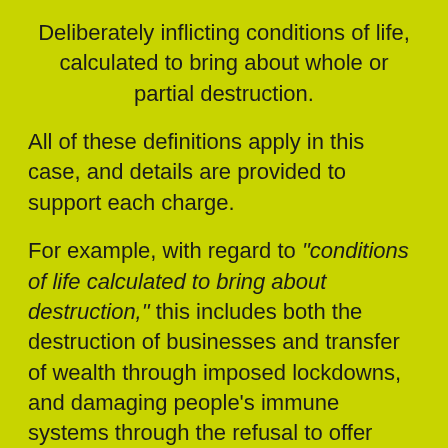Deliberately inflicting conditions of life, calculated to bring about whole or partial destruction.
All of these definitions apply in this case, and details are provided to support each charge.
For example, with regard to “conditions of life calculated to bring about destruction,” this includes both the destruction of businesses and transfer of wealth through imposed lockdowns, and damaging people’s immune systems through the refusal to offer early